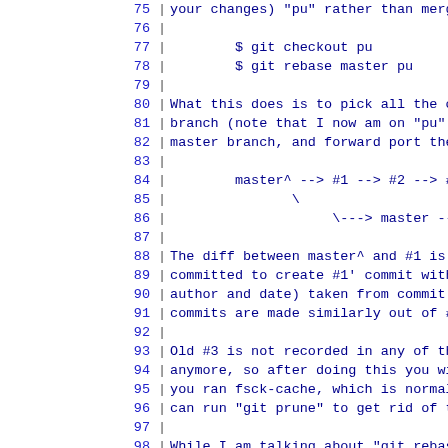Lines 75-104 of a git documentation/tutorial file showing monospace code and prose about git rebase and cherry-picking operations.